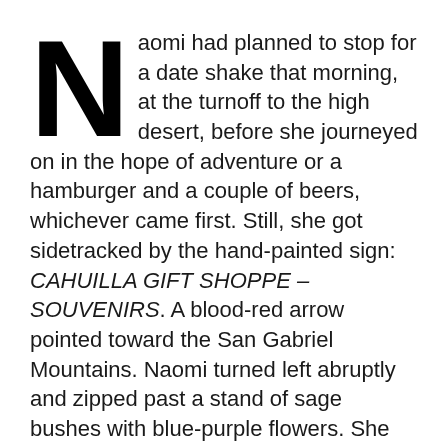Naomi had planned to stop for a date shake that morning, at the turnoff to the high desert, before she journeyed on in the hope of adventure or a hamburger and a couple of beers, whichever came first. Still, she got sidetracked by the hand-painted sign: CAHUILLA GIFT SHOPPE – SOUVENIRS. A blood-red arrow pointed toward the San Gabriel Mountains. Naomi turned left abruptly and zipped past a stand of sage bushes with blue-purple flowers. She stained the blacktop with rubber tread marks.
A couple of miles down the road, a large tumbleweed rolled in front of her car; she veered to miss it and nearly hit a rabbit. Naomi slowed down fifty feet from the shop, a small faded pink stucco house. She parked her car on gritty dirt and went inside. She was greeted by a middle-aged Indian woman, dressed in jeans and a denim work